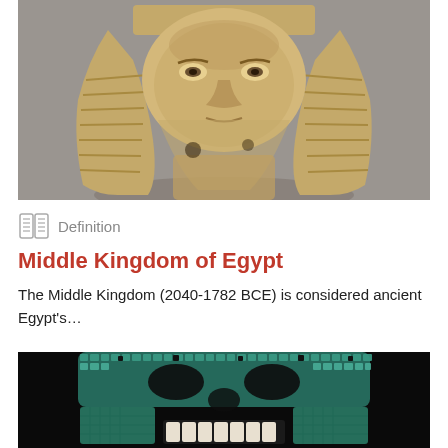[Figure (photo): Ancient Egyptian sphinx statuette — carved stone figure with pharaoh headdress, photographed against a gray background]
Definition
Middle Kingdom of Egypt
The Middle Kingdom (2040-1782 BCE) is considered ancient Egypt's…
[Figure (photo): Turquoise mosaic skull mask with white teeth, photographed against a black background — likely Aztec artifact]